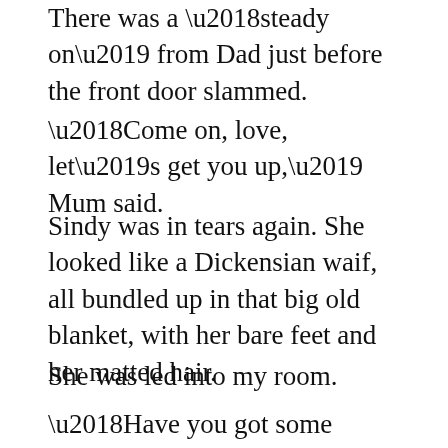There was a 'steady on' from Dad just before the front door slammed.
‘Come on, love, let’s get you up,’ Mum said.
Sindy was in tears again. She looked like a Dickensian waif, all bundled up in that big old blanket, with her bare feet and her matted hair.
She was led into my room.
‘Have you got some clothes you don’t need, Alexander?’ Mum said. She looked around, imagining the kitchen